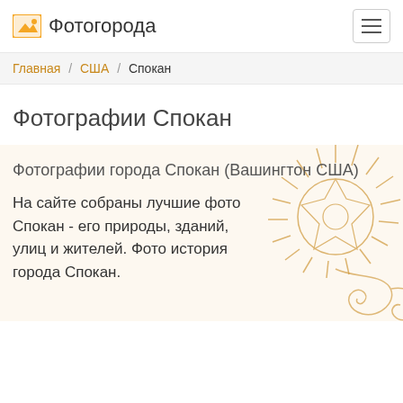Фотогорода
Главная / США / Спокан
Фотографии Спокан
Фотографии города Спокан (Вашингтон США)
На сайте собраны лучшие фото Спокан - его природы, зданий, улиц и жителей. Фото история города Спокан.
[Figure (illustration): Decorative golden sun with rays and swirl ornament]